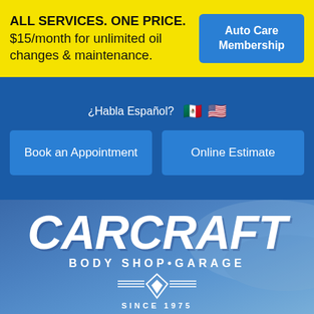ALL SERVICES. ONE PRICE. $15/month for unlimited oil changes & maintenance.
Auto Care Membership
¿Habla Español? 🇲🇽 🇺🇸
Book an Appointment
Online Estimate
[Figure (logo): CarCraft Body Shop · Garage logo with SINCE 1975 tagline on a blue hero background]